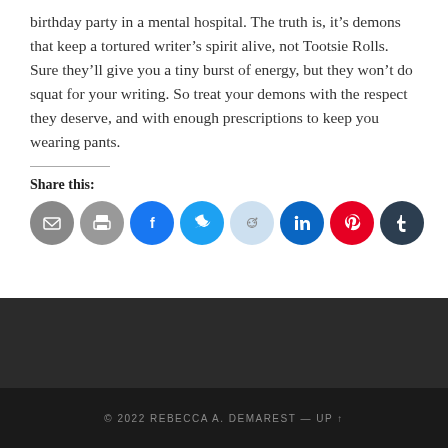birthday party in a mental hospital. The truth is, it's demons that keep a tortured writer's spirit alive, not Tootsie Rolls. Sure they'll give you a tiny burst of energy, but they won't do squat for your writing. So treat your demons with the respect they deserve, and with enough prescriptions to keep you wearing pants.
Share this:
[Figure (infographic): Row of 8 circular social share buttons: Email (gray), Print (gray), Facebook (blue), Twitter (light blue), Reddit (light blue), LinkedIn (dark blue), Pinterest (red), Tumblr (dark blue-gray)]
© 2022 REBECCA A. DEMAREST — UP ↑